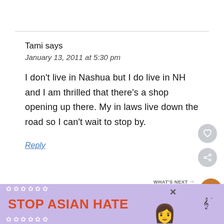Tami says
January 13, 2011 at 5:30 pm
I don't live in Nashua but I do live in NH and I am thrilled that there's a shop opening up there. My in laws live down the road so I can't wait to stop by.
Reply
[Figure (screenshot): What's Next panel showing Pancake Goldilocks with a round food image]
[Figure (infographic): Stop Asian Hate advertisement banner with purple floral background and illustrated figure]